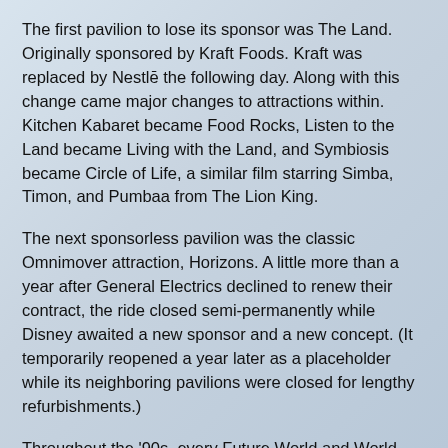The first pavilion to lose its sponsor was The Land. Originally sponsored by Kraft Foods. Kraft was replaced by Nestlē the following day. Along with this change came major changes to attractions within. Kitchen Kabaret became Food Rocks, Listen to the Land became Living with the Land, and Symbiosis became Circle of Life, a similar film starring Simba, Timon, and Pumbaa from The Lion King.
The next sponsorless pavilion was the classic Omnimover attraction, Horizons. A little more than a year after General Electrics declined to renew their contract, the ride closed semi-permanently while Disney awaited a new sponsor and a new concept. (It temporarily reopened a year later as a placeholder while its neighboring pavilions were closed for lengthy refurbishments.)
Throughout the '90s, every Future World and World Showcase pavilion either changed sponsors, saw major refurbs requested by its sponsor, or lost sponsors entirely and either closed or operated out of Disney's own pocket. A decade later, the process repeated itself. Of the seven